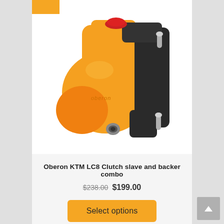[Figure (photo): Orange Oberon KTM LC8 clutch slave cylinder and backer combo product photo on white background, showing orange anodized aluminum machined part with black clamp and silver hardware bolts]
Oberon KTM LC8 Clutch slave and backer combo
$238.00 $199.00